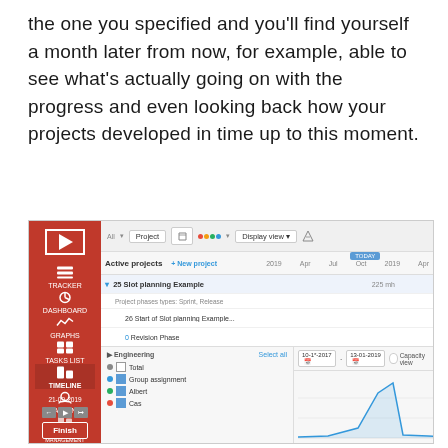the one you specified and you'll find yourself a month later from now, for example, able to see what's actually going on with the progress and even looking back how your projects developed in time up to this moment.
[Figure (screenshot): Screenshot of a project management application (Gantt chart view) showing Active projects including 'Slot planning Example' with tasks like 'Start of Slot planning Example', 'Revision Phase', 'Part A', 'Engineering prt A', 'detailed design A', 'task AX', 'implementing Part A', 'Testing part A', 'Milestone Recurring', 'Part B'. Bottom panel shows Engineering team with members Total, Group assignment, Albert, and Cas, plus date range controls and a load chart.]